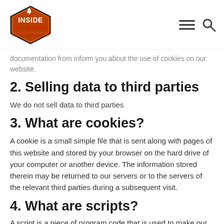Inside Tailgating
documentation from inform you about the use of cookies on our website.
2. Selling data to third parties
We do not sell data to third parties
3. What are cookies?
A cookie is a small simple file that is sent along with pages of this website and stored by your browser on the hard drive of your computer or another device. The information stored therein may be returned to our servers or to the servers of the relevant third parties during a subsequent visit.
4. What are scripts?
A script is a piece of program code that is used to make our